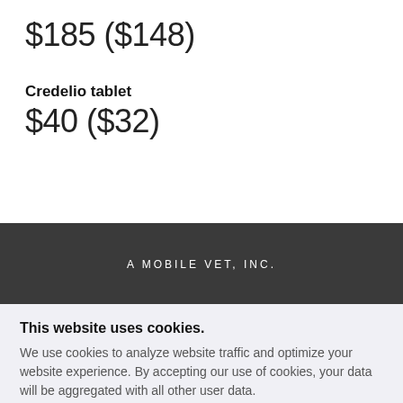$185 ($148)
Credelio tablet
$40 ($32)
A MOBILE VET, INC.
This website uses cookies.
We use cookies to analyze website traffic and optimize your website experience. By accepting our use of cookies, your data will be aggregated with all other user data.